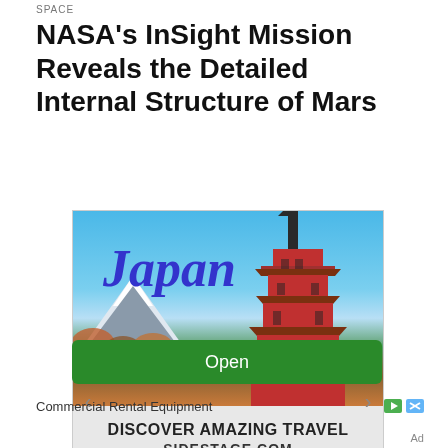SPACE
NASA's InSight Mission Reveals the Detailed Internal Structure of Mars
[Figure (photo): Advertisement showing a Japan travel image with Mount Fuji and a red pagoda, with text 'Japan' in large italic letters, 'DISCOVER AMAZING TRAVEL' and 'SIDESTAGE.COM', navigation arrows on left and right sides.]
Commercial Rental Equipment
Open
Ad